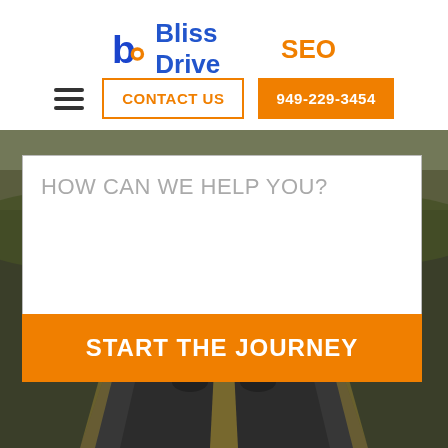[Figure (logo): Bliss Drive SEO logo with stylized 'b' icon in blue and orange]
CONTACT US
949-229-3454
[Figure (photo): Road with car driving away, landscape background]
HOW CAN WE HELP YOU?
START THE JOURNEY